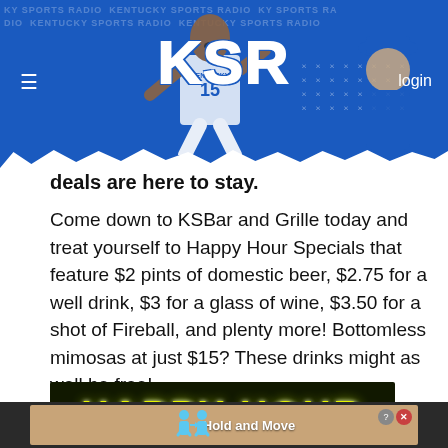KSR - Kentucky Sports Radio - login
deals are here to stay.
Come down to KSBar and Grille today and treat yourself to Happy Hour Specials that feature $2 pints of domestic beer, $2.75 for a well drink, $3 for a glass of wine, $3.50 for a shot of Fireball, and plenty more! Bottomless mimosas at just $15? These drinks might as well be free!
[Figure (photo): Happy Hour promotional image with bright yellow-green text on dark background reading HAPPY HOUR]
[Figure (infographic): Advertisement bar at bottom with Hold and Move text and figure icons on tan/brown background]